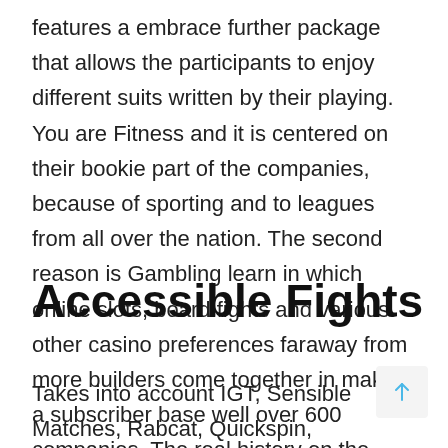features a embrace further package that allows the participants to enjoy different suits written by their playing. You are Fitness and it is centered on their bookie part of the companies, because of sporting and to leagues from all over the nation. The second reason is Gambling learn in which online slots, board fights and various other casino preferences faraway from more builders come together in making a subscriber base well over 600 companies. The real history on the BetVictor goes back several age, of meaning opening back in 1925.
Accessible Fights
Takes into account IGT, Sensible Matches, Rabcat, Quickspin, Thunderkick, Outline, Amaya several others. It